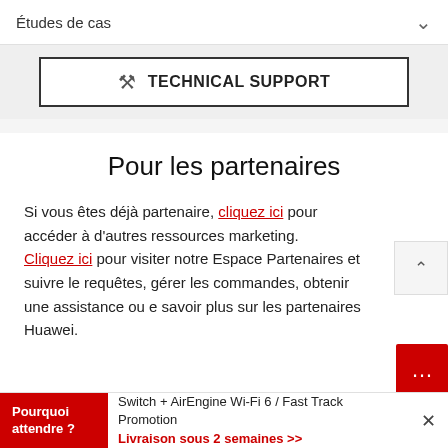Études de cas
[Figure (screenshot): Technical Support button with wrench/scissors icon and bold label TECHNICAL SUPPORT inside a bordered rectangle on a grey background]
Pour les partenaires
Si vous êtes déjà partenaire, cliquez ici pour accéder à d'autres ressources marketing.
Cliquez ici pour visiter notre Espace Partenaires et suivre le requêtes, gérer les commandes, obtenir une assistance ou e savoir plus sur les partenaires Huawei.
SUIVEZ-NOUS
Pourquoi attendre ?  Switch + AirEngine Wi-Fi 6 / Fast Track Promotion Livraison sous 2 semaines >>